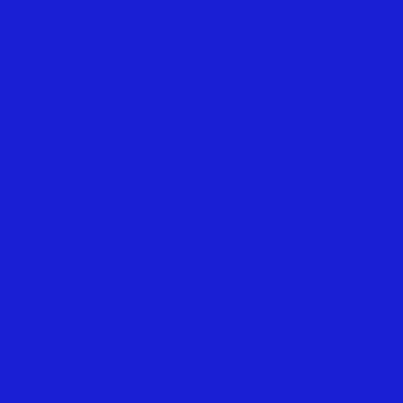[Figure (other): Solid blue rectangular panel occupying the left half of the page]
unique way, weaving melodies improvisations, with a sensitivi playing together.

Since the 1980s they were ofte Musa Zangi, who has created American and Middle Eastern the delicate sounds of the duo and Kratochvíl playing togethe of eight CDs presenting all of t released a new CD, Cestou, in hand percussion sounds of his the sound palette.

From the first, slow-groove title combination of sound colors, r Ackerman's seven-string guita complement Kratochvíl's percu combination weaves in their li wide variety of styles, tempos rich ballads of Kratochvíl (Odk mysterious sound of the 12-str Fantýnu, and to the exciting Sa

Although you are most likely to it's more accurate to think of th crossroad where a legend of C picker of blues, country and ot